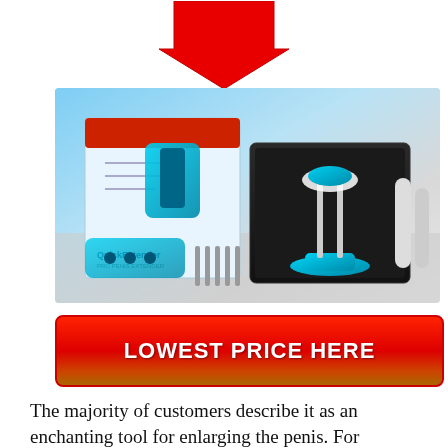[Figure (illustration): Large red downward-pointing arrow]
[Figure (photo): Product photo of QuickExtender Pro device and packaging — blue medical extender device shown in black case with box and accessories on white surface]
LOWEST PRICE HERE
The majority of customers describe it as an enchanting tool for enlarging the penis. For